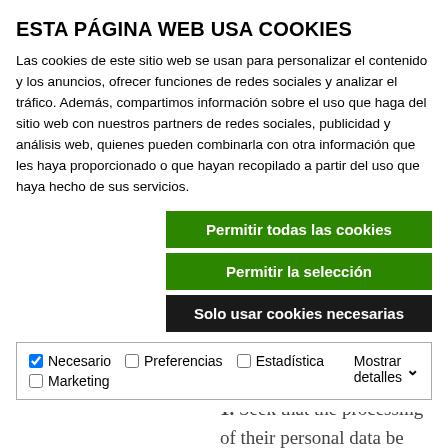ESTA PÁGINA WEB USA COOKIES
Las cookies de este sitio web se usan para personalizar el contenido y los anuncios, ofrecer funciones de redes sociales y analizar el tráfico. Además, compartimos información sobre el uso que haga del sitio web con nuestros partners de redes sociales, publicidad y análisis web, quienes pueden combinarla con otra información que les haya proporcionado o que hayan recopilado a partir del uso que haya hecho de sus servicios.
Permitir todas las cookies
Permitir la selección
Solo usar cookies necesarias
| Necesario | Preferencias | Estadística | Mostrar detalles |
| --- | --- | --- | --- |
| ☑ | ☐ | ☐ | ▾ |
| Marketing |  |  |  |
gathered.
In specific circumstances, the data subjects may:
1. Seek that the processing of their personal data be limited, in which case we will retain them solely for